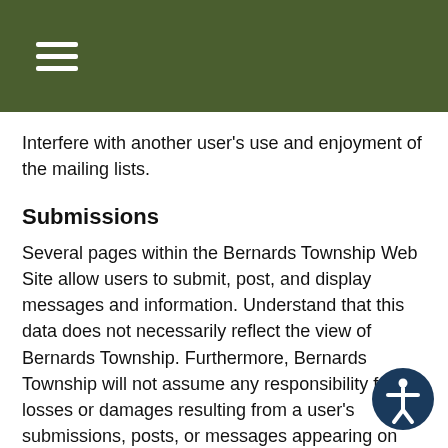Interfere with another user's use and enjoyment of the mailing lists.
Submissions
Several pages within the Bernards Township Web Site allow users to submit, post, and display messages and information. Understand that this data does not necessarily reflect the view of Bernards Township. Furthermore, Bernards Township will not assume any responsibility for losses or damages resulting from a user's submissions, posts, or messages appearing on this site.
By submitting, posting, or displaying any